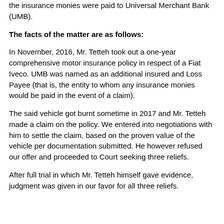the insurance monies were paid to Universal Merchant Bank (UMB).
The facts of the matter are as follows:
In November, 2016, Mr. Tetteh took out a one-year comprehensive motor insurance policy in respect of a Fiat Iveco. UMB was named as an additional insured and Loss Payee (that is, the entity to whom any insurance monies would be paid in the event of a claim).
The said vehicle got burnt sometime in 2017 and Mr. Tetteh made a claim on the policy. We entered into negotiations with him to settle the claim, based on the proven value of the vehicle per documentation submitted. He however refused our offer and proceeded to Court seeking three reliefs.
After full trial in which Mr. Tetteh himself gave evidence, judgment was given in our favor for all three reliefs.